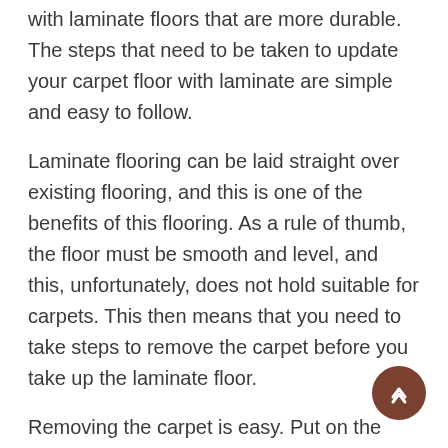with laminate floors that are more durable. The steps that need to be taken to update your carpet floor with laminate are simple and easy to follow.
Laminate flooring can be laid straight over existing flooring, and this is one of the benefits of this flooring. As a rule of thumb, the floor must be smooth and level, and this, unfortunately, does not hold suitable for carpets. This then means that you need to take steps to remove the carpet before you take up the laminate floor.
Removing the carpet is easy. Put on the required protective gear, like a respirator mask and gloves, so you do not breathe in too much dust, and your hands are protected.
What you need is a utility knife, a wrecking bar or